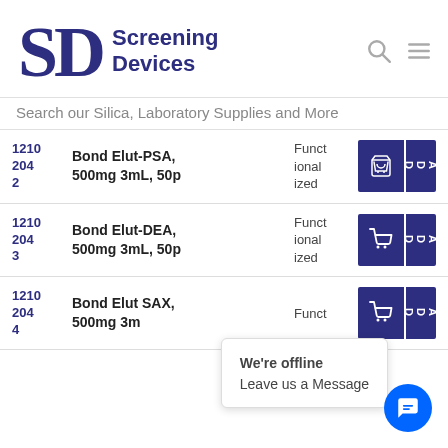[Figure (logo): Screening Devices logo with SD monogram in dark navy/purple]
Search our Silica, Laboratory Supplies and More
| ID | Product | Type | Actions |
| --- | --- | --- | --- |
| 12102042 | Bond Elut-PSA, 500mg 3mL, 50p | Functionalized | ADD |
| 12102043 | Bond Elut-DEA, 500mg 3mL, 50p | Functionalized | ADD |
| 12102044 | Bond Elut SAX, 500mg 3m... | Funct... | ADD |
We're offline
Leave us a Message